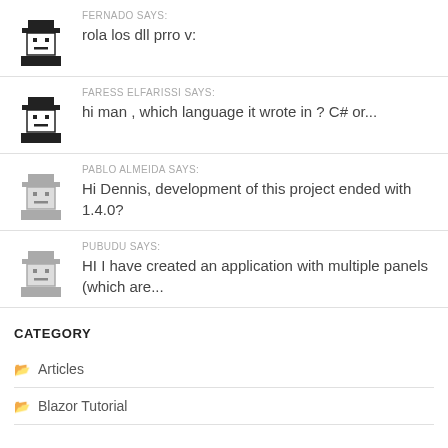FERNADO SAYS: rola los dll prro v:
FARESS ELFARISSI SAYS: hi man , which language it wrote in ? C# or...
PABLO ALMEIDA SAYS: Hi Dennis, development of this project ended with 1.4.0?
PUBUDU SAYS: HI I have created an application with multiple panels (which are...
CATEGORY
Articles
Blazor Tutorial